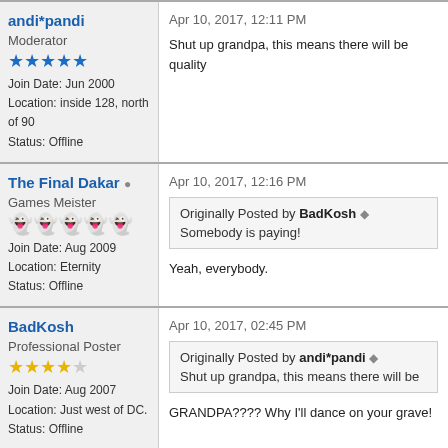andi*pandi
Moderator
Join Date: Jun 2000
Location: inside 128, north of 90
Status: Offline
Apr 10, 2017, 12:11 PM
Shut up grandpa, this means there will be quality
The Final Dakar
Games Meister
Join Date: Aug 2009
Location: Eternity
Status: Offline
Apr 10, 2017, 12:16 PM
Originally Posted by BadKosh
Somebody is paying!
Yeah, everybody.
BadKosh
Professional Poster
Join Date: Aug 2007
Location: Just west of DC.
Status: Offline
Apr 10, 2017, 02:45 PM
Originally Posted by andi*pandi
Shut up grandpa, this means there will be
GRANDPA???? Why I'll dance on your grave!